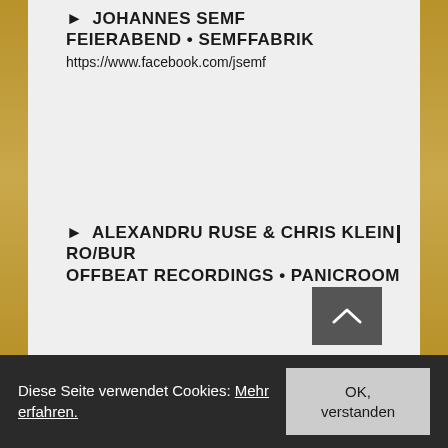► JOHANNES SEMF FEIERABEND • SEMFFABRIK https://www.facebook.com/jsemf
► ALEXANDRU RUSE & CHRIS KLEIN | RO/BUR OFFBEAT RECORDINGS • PANICROOM
Diese Seite verwendet Cookies: Mehr erfahren. OK, verstanden